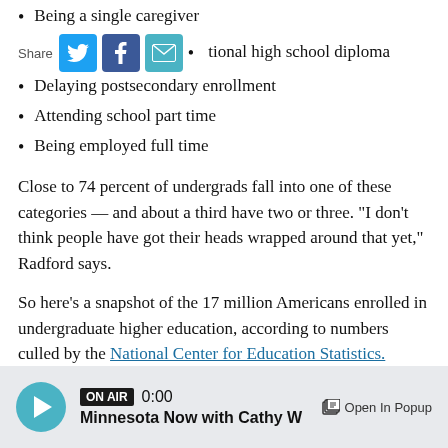Being a single caregiver
tional high school diploma
Delaying postsecondary enrollment
Attending school part time
Being employed full time
Close to 74 percent of undergrads fall into one of these categories — and about a third have two or three. "I don't think people have got their heads wrapped around that yet," Radford says.
So here's a snapshot of the 17 million Americans enrolled in undergraduate higher education, according to numbers culled by the National Center for Education Statistics.